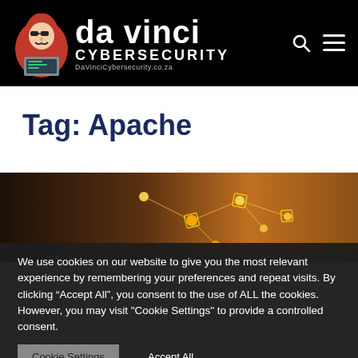da vinci CYBERSECURITY DaVinciCybersecurity.co.za
Tag: Apache
[Figure (photo): Network/cybersecurity themed image showing connected nodes with orange glow against dark background]
We use cookies on our website to give you the most relevant experience by remembering your preferences and repeat visits. By clicking “Accept All”, you consent to the use of ALL the cookies. However, you may visit "Cookie Settings" to provide a controlled consent.